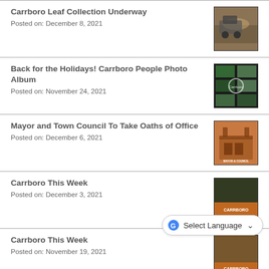Carrboro Leaf Collection Underway
Posted on: December 8, 2021
Back for the Holidays! Carrboro People Photo Album
Posted on: November 24, 2021
Mayor and Town Council To Take Oaths of Office
Posted on: December 6, 2021
Carrboro This Week
Posted on: December 3, 2021
Carrboro This Week
Posted on: November 19, 2021